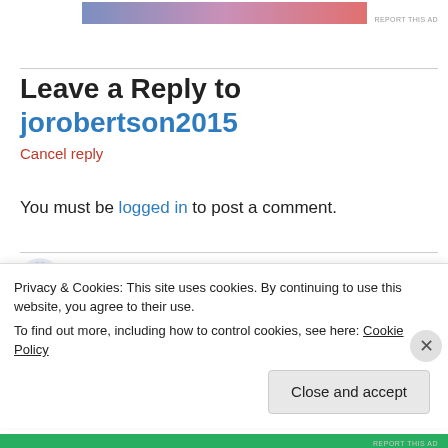[Figure (other): Partial advertisement banner with gradient image (blue to pink to red)]
Leave a Reply to jorobertson2015
Cancel reply
You must be logged in to post a comment.
tracyshephard on February 29, 2016 at 16:17
beautiful blog x
Privacy & Cookies: This site uses cookies. By continuing to use this website, you agree to their use.
To find out more, including how to control cookies, see here: Cookie Policy
Close and accept